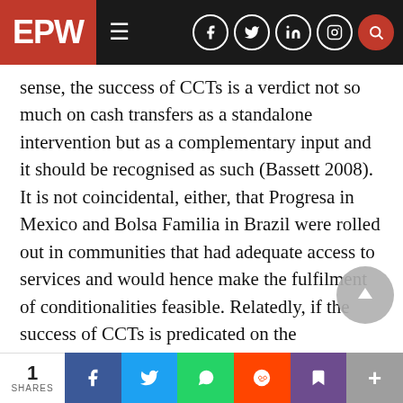EPW
sense, the success of CCTs is a verdict not so much on cash transfers as a standalone intervention but as a complementary input and it should be recognised as such (Bassett 2008). It is not coincidental, either, that Progresa in Mexico and Bolsa Familia in Brazil were rolled out in communities that had adequate access to services and would hence make the fulfilment of conditionalities feasible. Relatedly, if the success of CCTs is predicated on the availability of services in the first place, their replicability and scalability to include marginal settings is questionable. T is especially critical for health (Lagarde et al 2...
1 SHARES | Share on Facebook | Share on Twitter | Share on WhatsApp | Share on Reddit | Save to Pocket | More